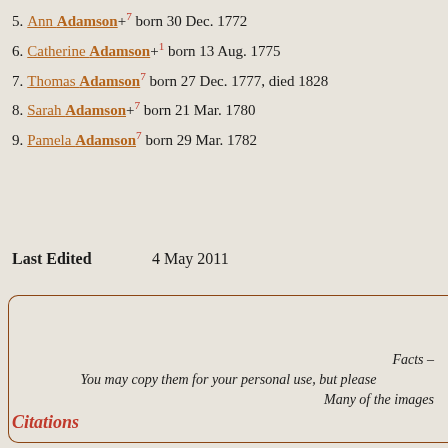5. Ann Adamson+7 born 30 Dec. 1772
6. Catherine Adamson+1 born 13 Aug. 1775
7. Thomas Adamson7 born 27 Dec. 1777, died 1828
8. Sarah Adamson+7 born 21 Mar. 1780
9. Pamela Adamson7 born 29 Mar. 1782
Last Edited   4 May 2011
Facts -
You may copy them for your personal use, but please
Many of the images
Citations